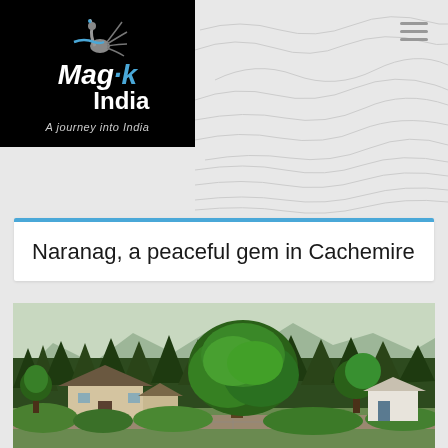[Figure (logo): Magik India logo - black background with peacock illustration, text 'Magik India' and tagline 'A journey into India']
Naranag, a peaceful gem in Cachemire
[Figure (photo): Scenic photo of Naranag showing traditional stone and thatched-roof houses surrounded by lush green trees and forested mountains in the background, Kashmir]